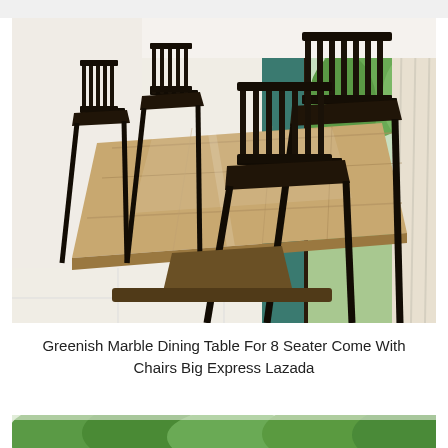[Figure (photo): Indoor dining room photo showing a large marble-top dining table with brown/gold veined surface, surrounded by dark wooden chairs with slatted backs, set on white tile flooring. A mirror on the left wall reflects the room. Large open sliding doors on the right reveal a garden with a large dark urn/pot and green trees. Teal/green curtains frame the doors.]
Greenish Marble Dining Table For 8 Seater Come With Chairs Big Express Lazada
[Figure (photo): Partial view of an outdoor garden scene with green trees visible at the top of the frame.]